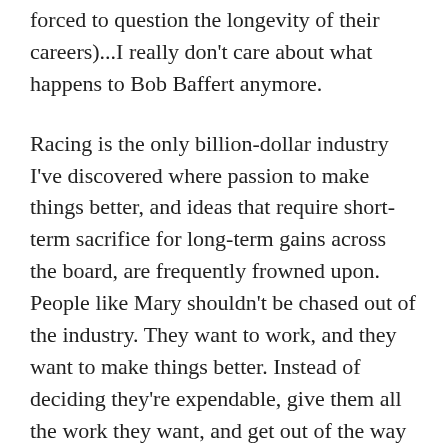forced to question the longevity of their careers)...I really don't care about what happens to Bob Baffert anymore.
Racing is the only billion-dollar industry I've discovered where passion to make things better, and ideas that require short-term sacrifice for long-term gains across the board, are frequently frowned upon. People like Mary shouldn't be chased out of the industry. They want to work, and they want to make things better. Instead of deciding they're expendable, give them all the work they want, and get out of the way while they do it.
We can go on and on about things like Baffert,